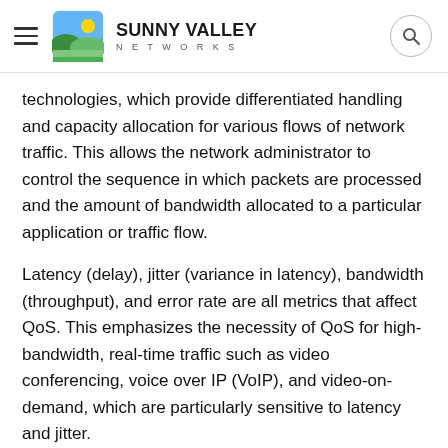SUNNY VALLEY NETWORKS
technologies, which provide differentiated handling and capacity allocation for various flows of network traffic. This allows the network administrator to control the sequence in which packets are processed and the amount of bandwidth allocated to a particular application or traffic flow.
Latency (delay), jitter (variance in latency), bandwidth (throughput), and error rate are all metrics that affect QoS. This emphasizes the necessity of QoS for high-bandwidth, real-time traffic such as video conferencing, voice over IP (VoIP), and video-on-demand, which are particularly sensitive to latency and jitter.
Nowadays, businesses are expected to deliver trustworthy services with little disturbance to the end-user. In recent